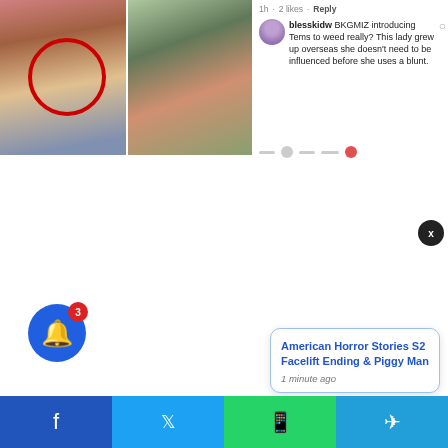[Figure (screenshot): Two photos side by side: left photo shows a woman with a red circle annotation, right photo shows another woman in a green top outdoors. Right side shows a social media comment with avatar.]
blesskidw BKGMIZ introducing Tems to weed really? This lady grew up overseas she doesn't need to be influenced before she uses a blunt.
[Figure (screenshot): Notification popup: American Horror Stories S2 Facelift Ending & Piggy Man, 1 minute ago]
American Horror Stories S2 Facelift Ending & Piggy Man
1 minute ago